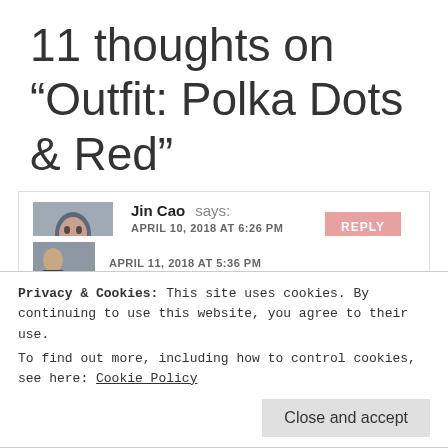11 thoughts on “Outfit: Polka Dots & Red”
Jin Cao says:
APRIL 10, 2018 AT 6:26 PM
This outfit is very “modern rockabilly” if that makes any sense. Red lips really pull the look together, love it!
Privacy & Cookies: This site uses cookies. By continuing to use this website, you agree to their use.
To find out more, including how to control cookies, see here: Cookie Policy
Close and accept
APRIL 11, 2018 AT 5:36 PM